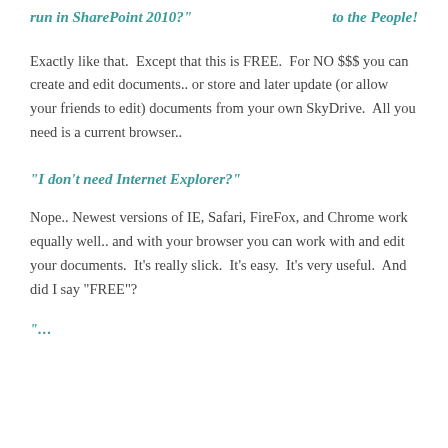run in SharePoint 2010?"   to the People!
Exactly like that.  Except that this is FREE.  For NO $$$ you can create and edit documents.. or store and later update (or allow your friends to edit) documents from your own SkyDrive.  All you need is a current browser..
“I don’t need Internet Explorer?”
Nope.. Newest versions of IE, Safari, FireFox, and Chrome work equally well.. and with your browser you can work with and edit your documents.  It's really slick.  It's easy.  It's very useful.  And did I say “FREE”?
“...